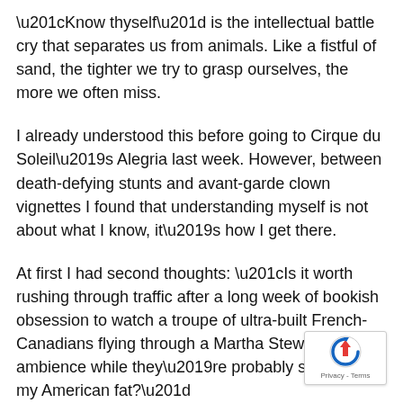“Know thyself” is the intellectual battle cry that separates us from animals. Like a fistful of sand, the tighter we try to grasp ourselves, the more we often miss.
I already understood this before going to Cirque du Soleil’s Alegria last week. However, between death-defying stunts and avant-garde clown vignettes I found that understanding myself is not about what I know, it’s how I get there.
At first I had second thoughts: “Is it worth rushing through traffic after a long week of bookish obsession to watch a troupe of ultra-built French-Canadians flying through a Martha Stewart-like ambience while they’re probably sneering at my American fat?”
[Figure (logo): reCAPTCHA badge with arrow icon and Privacy/Terms text]